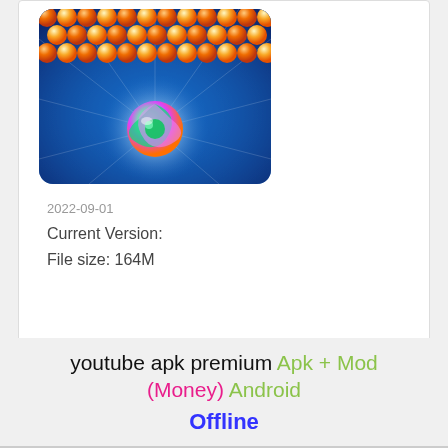[Figure (screenshot): Mobile game screenshot showing colorful bubble shooter game with rows of orange and yellow bubbles at top, blue starry background, and a multicolored swirling ball in the center]
2022-09-01
Current Version:
File size: 164M
youtube apk premium Apk + Mod (Money) Android
Offline